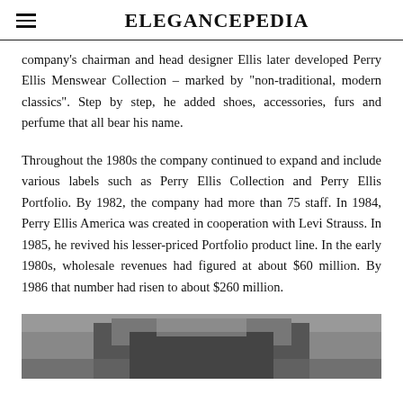ELEGANCEPEDIA
company's chairman and head designer Ellis later developed Perry Ellis Menswear Collection – marked by "non-traditional, modern classics". Step by step, he added shoes, accessories, furs and perfume that all bear his name.
Throughout the 1980s the company continued to expand and include various labels such as Perry Ellis Collection and Perry Ellis Portfolio. By 1982, the company had more than 75 staff. In 1984, Perry Ellis America was created in cooperation with Levi Strauss. In 1985, he revived his lesser-priced Portfolio product line. In the early 1980s, wholesale revenues had figured at about $60 million. By 1986 that number had risen to about $260 million.
[Figure (photo): Black and white photograph, partially visible at bottom of page]